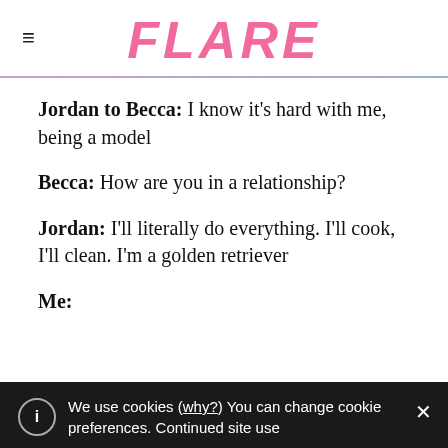FLARE
Jordan to Becca: I know it's hard with me, being a model
Becca: How are you in a relationship?
Jordan: I'll literally do everything. I'll cook, I'll clean. I'm a golden retriever
Me:
We use cookies (why?) You can change cookie preferences. Continued site use